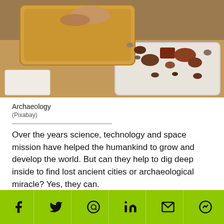[Figure (photo): Archaeology photo showing hands working over a container with artifacts and stones spread on a surface outdoors]
Archaeology
(Pixabay)
Over the years science, technology and space mission have helped the humankind to grow and develop the world. But can they help to dig deep inside to find lost ancient cities or archaeological miracle? Yes, they can.
When archaeologists apply a space-based data to understand the modern landscape, to find out the lost
Social share bar: Facebook, Twitter, WhatsApp, LinkedIn, Email, Messenger